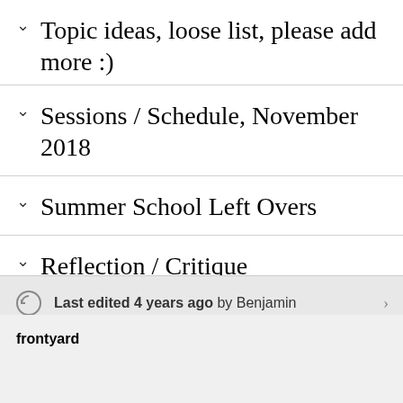Topic ideas, loose list, please add more :)
Sessions / Schedule, November 2018
Summer School Left Overs
Reflection / Critique
Last edited 4 years ago by Benjamin
frontyard